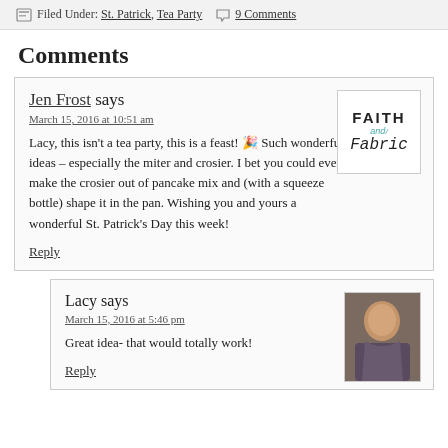Filed Under: St. Patrick, Tea Party   9 Comments
Comments
Jen Frost says
March 15, 2016 at 10:51 am
Lacy, this isn't a tea party, this is a feast! 🎉 Such wonderful ideas – especially the miter and crosier. I bet you could even make the crosier out of pancake mix and (with a squeeze bottle) shape it in the pan. Wishing you and yours a wonderful St. Patrick's Day this week!
Reply
Lacy says
March 15, 2016 at 5:46 pm
Great idea- that would totally work!
Reply